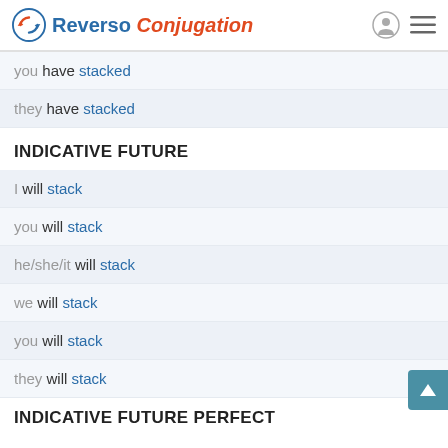Reverso Conjugation
you have stacked
they have stacked
INDICATIVE FUTURE
I will stack
you will stack
he/she/it will stack
we will stack
you will stack
they will stack
INDICATIVE FUTURE PERFECT